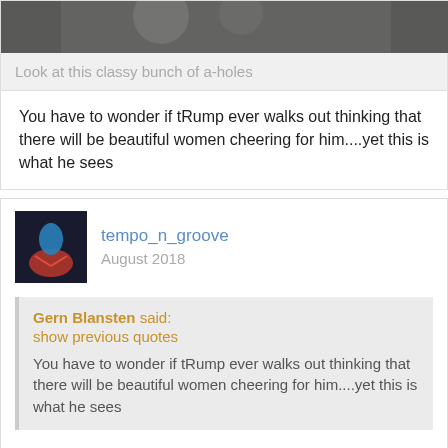[Figure (photo): A cropped photo of a crowd of people, mostly older men, at what appears to be a political rally.]
Look at this classy bunch of a-holes
You have to wonder if tRump ever walks out thinking that there will be beautiful women cheering for him....yet this is what he sees
tempo_n_groove
August 2018
Gern Blansten said:
show previous quotes
You have to wonder if tRump ever walks out thinking that there will be beautiful women cheering for him....yet this is what he sees
So, if this is his base why do people constantly bring up the Nazis thing?
Anybody notice the pattern? Old white people...